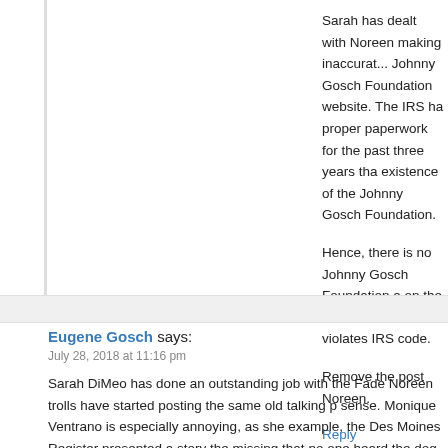Sarah has dealt with Noreen making inaccurat... Johnny Gosch Foundation website. The IRS ha... proper paperwork for the past three years tha... existence of the Johnny Gosch Foundation.
Hence, there is no Johnny Gosch Foundation a... on the foundation's website violates IRS code.
Remove the post Noreen.
Reply
Eugene Gosch says:
July 28, 2018 at 11:16 pm
Sarah DiMeo has done an outstanding job with the Fade... Noreen trolls have started posting the same old talking p... sense. Monique Ventrano is especially annoying, as she... example, the Des Moines Register presented a story the... missing that no one heard the dog bark. Monique claims... heard the dog bark. that is, if there was a dog